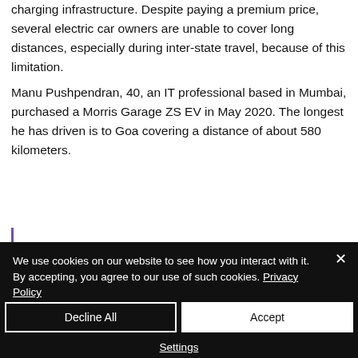charging infrastructure. Despite paying a premium price, several electric car owners are unable to cover long distances, especially during inter-state travel, because of this limitation.
Manu Pushpendran, 40, an IT professional based in Mumbai, purchased a Morris Garage ZS EV in May 2020. The longest he has driven is to Goa covering a distance of about 580 kilometers.
We use cookies on our website to see how you interact with it. By accepting, you agree to our use of such cookies. Privacy Policy
Decline All
Accept
Settings